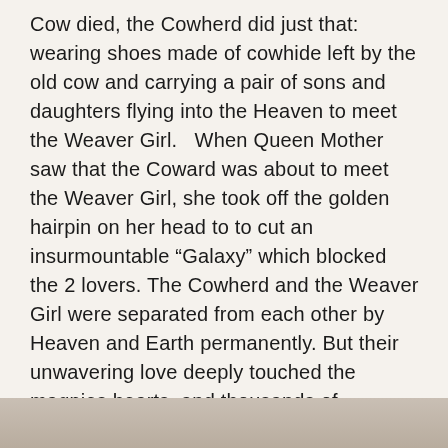Cow died, the Cowherd did just that: wearing shoes made of cowhide left by the old cow and carrying a pair of sons and daughters flying into the Heaven to meet the Weaver Girl.   When Queen Mother saw that the Coward was about to meet the Weaver Girl, she took off the golden hairpin on her head to to cut an insurmountable “Galaxy” which blocked the 2 lovers. The Cowherd and the Weaver Girl were separated from each other by Heaven and Earth permanently. But their unwavering love deeply touched the magpies hearts, and thousands of magpies gathered together to built a “Magpie Fairy Bridge” for the Cowherd and Weaver Girl to meet on the bridge. The Queen Mother had no choice but to allow this couple to meet on July 7th each year.
[Figure (photo): Partial image visible at the bottom of the page, showing a light brownish/tan colored scene, likely an outdoor or nature photo.]